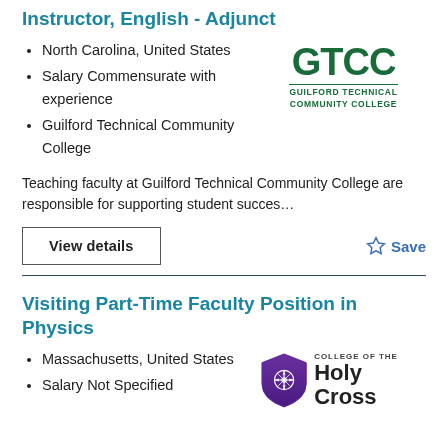Instructor, English - Adjunct
North Carolina, United States
Salary Commensurate with experience
Guilford Technical Community College
[Figure (logo): GTCC Guilford Technical Community College logo in green]
Teaching faculty at Guilford Technical Community College are responsible for supporting student succes…
View details
Save
Visiting Part-Time Faculty Position in Physics
Massachusetts, United States
Salary Not Specified
[Figure (logo): College of the Holy Cross logo with purple shield]